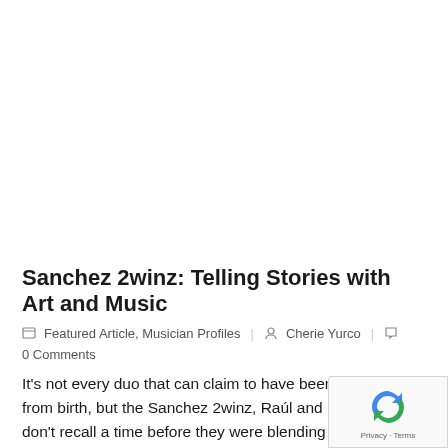Sanchez 2winz: Telling Stories with Art and Music
Featured Article, Musician Profiles  Cherie Yurco  0 Comments
It's not every duo that can claim to have been collaborating from birth, but the Sanchez 2winz, Raúl and Rod Sánchez, don't recall a time before they were blending their talents